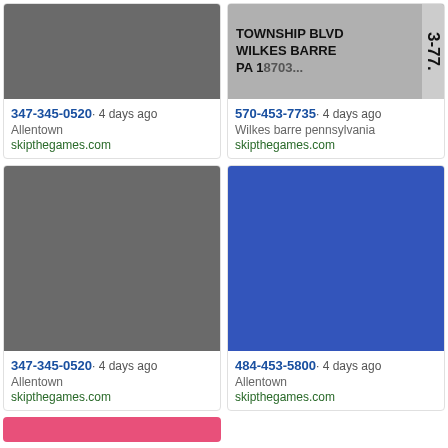[Figure (photo): Person with dark hair, photo rotated, dark background]
347-345-0520· 4 days ago
Allentown
skipthegames.com
[Figure (photo): Text overlay: TOWNSHIP BLVD WILKES BARRE PA with partial address, number 3-77 visible on right edge]
570-453-7735· 4 days ago
Wilkes barre pennsylvania
skipthegames.com
[Figure (photo): Person with dark hair and tattoos, photo rotated, dark background]
347-345-0520· 4 days ago
Allentown
skipthegames.com
[Figure (photo): Person with blue and white hair, blue outfit, selfie photo]
484-453-5800· 4 days ago
Allentown
skipthegames.com